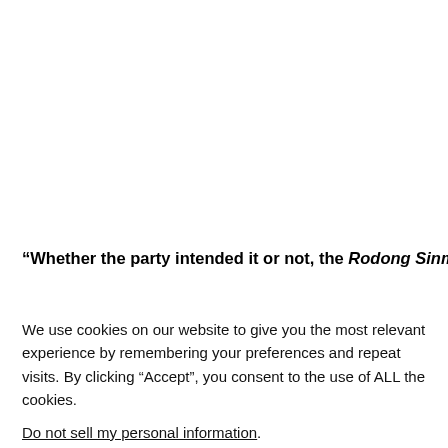“Whether the party intended it or not, the Rodong Sinmun
We use cookies on our website to give you the most relevant experience by remembering your preferences and repeat visits. By clicking “Accept”, you consent to the use of ALL the cookies.
Do not sell my personal information.
Cookie Settings
Accept